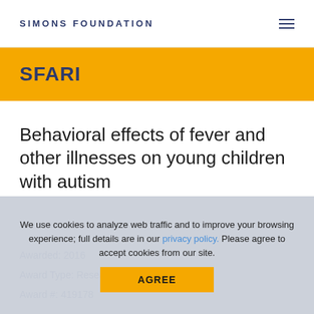SIMONS FOUNDATION
SFARI
Behavioral effects of fever and other illnesses on young children with autism
We use cookies to analyze web traffic and to improve your browsing experience; full details are in our privacy policy. Please agree to accept cookies from our site.
Awarded: 2016
Award Type: Research
Award #: 419178